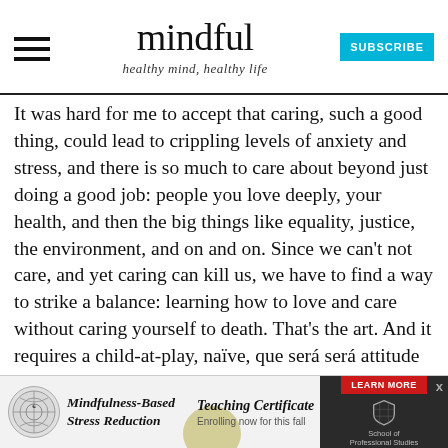mindful — healthy mind, healthy life
It was hard for me to accept that caring, such a good thing, could lead to crippling levels of anxiety and stress, and there is so much to care about beyond just doing a good job: people you love deeply, your health, and then the big things like equality, justice, the environment, and on and on. Since we can't not care, and yet caring can kill us, we have to find a way to strike a balance: learning how to love and care without caring yourself to death. That's the art. And it requires a child-at-play, naïve, que será será attitude that is nevertheless anything but cold and uncaring. This
[Figure (advertisement): Mindfulness-Based Stress Reduction Teaching Certificate advertisement banner with learn more button and School of Professional Studies logo]